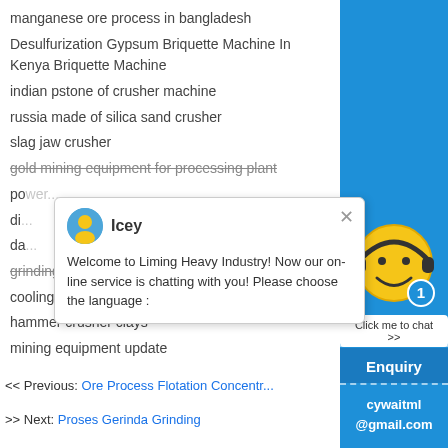manganese ore process in bangladesh
Desulfurization Gypsum Briquette Machine In Kenya Briquette Machine
indian pstone of crusher machine
russia made of silica sand crusher
slag jaw crusher
gold mining equipment for processing plant
po...
di...
da...
grinding machine seasame
cooling tower modular belt spiral conveyor
hammer crusher clays
mining equipment update
[Figure (screenshot): Chat popup with avatar of Icey and message: Welcome to Liming Heavy Industry! Now our on-line service is chatting with you! Please choose the language]
<< Previous: Ore Process Flotation Concentr...
>> Next: Proses Gerinda Grinding
[Figure (screenshot): Right sidebar with blue background showing smiley face chat widget, Enquiry section, and cywaitml@gmail.com email]
Enquiry
cywaitml@gmail.com